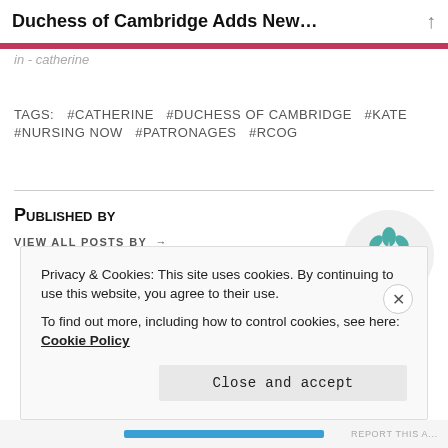Duchess of Cambridge Adds New...
in - catherine
TAGS:  #CATHERINE  #DUCHESS OF CAMBRIDGE  #KATE  #NURSING NOW  #PATRONAGES  #RCOG
Published by
VIEW ALL POSTS BY →
[Figure (logo): Teal/green decorative cross/flower logo in a light grey circle]
Privacy & Cookies: This site uses cookies. By continuing to use this website, you agree to their use.
To find out more, including how to control cookies, see here: Cookie Policy
Close and accept